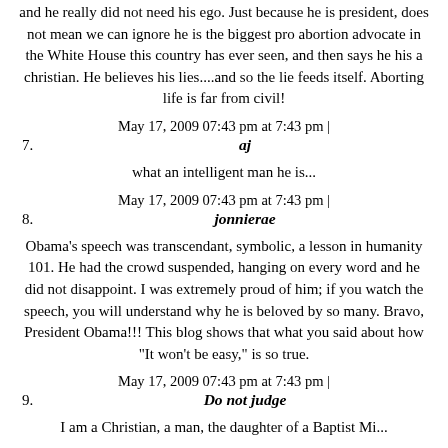and he really did not need his ego. Just because he is president, does not mean we can ignore he is the biggest pro abortion advocate in the White House this country has ever seen, and then says he his a christian. He believes his lies....and so the lie feeds itself. Aborting life is far from civil!
May 17, 2009 07:43 pm at 7:43 pm |
7. aj
what an intelligent man he is...
May 17, 2009 07:43 pm at 7:43 pm |
8. jonnierae
Obama's speech was transcendant, symbolic, a lesson in humanity 101. He had the crowd suspended, hanging on every word and he did not disappoint. I was extremely proud of him; if you watch the speech, you will understand why he is beloved by so many. Bravo, President Obama!!! This blog shows that what you said about how "It won't be easy," is so true.
May 17, 2009 07:43 pm at 7:43 pm |
9. Do not judge
I am a Christian, a man, the daughter of a Baptist Mi...